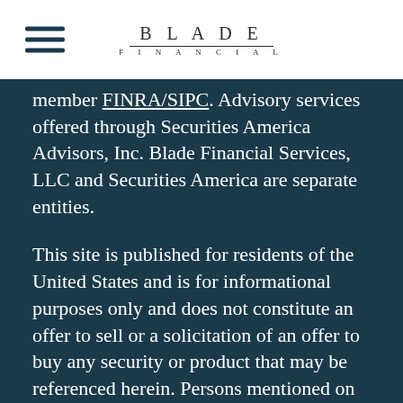BLADE FINANCIAL
member FINRA/SIPC. Advisory services offered through Securities America Advisors, Inc. Blade Financial Services, LLC and Securities America are separate entities.
This site is published for residents of the United States and is for informational purposes only and does not constitute an offer to sell or a solicitation of an offer to buy any security or product that may be referenced herein. Persons mentioned on this website may only offer services and transact business and/or respond to inquiries in states or jurisdictions in which they have been properly registered or are exempt from registration. Not all products and services referenced on this site are available in every state or jurisdiction.